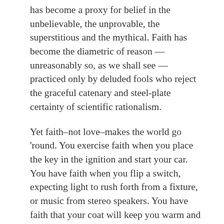has become a proxy for belief in the unbelievable, the unprovable, the superstitious and the mythical. Faith has become the diametric of reason — unreasonably so, as we shall see — practiced only by deluded fools who reject the graceful catenary and steel-plate certainty of scientific rationalism.
Yet faith–not love–makes the world go 'round. You exercise faith when you place the key in the ignition and start your car. You have faith when you flip a switch, expecting light to rush forth from a fixture, or music from stereo speakers. You have faith that your coat will keep you warm and dry; your plane will stay aloft; your surgeon will bring you through a heart bypass. The atheist has utter faith in his reason, that belief in God is beyond logic and therefore must be rejected. Such faith is nothing more than trust: a confidence that the object is reliable, the tool is trustworthy, its